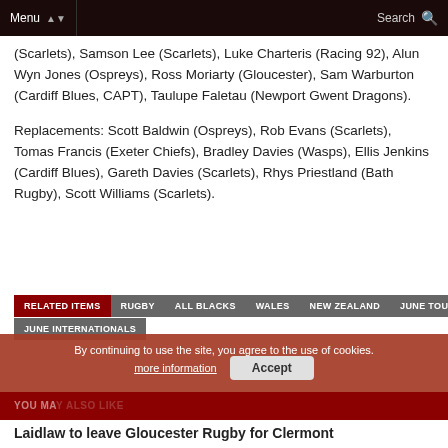Menu | Search
(Scarlets), Samson Lee (Scarlets), Luke Charteris (Racing 92), Alun Wyn Jones (Ospreys), Ross Moriarty (Gloucester), Sam Warburton (Cardiff Blues, CAPT), Taulupe Faletau (Newport Gwent Dragons).
Replacements: Scott Baldwin (Ospreys), Rob Evans (Scarlets), Tomas Francis (Exeter Chiefs), Bradley Davies (Wasps), Ellis Jenkins (Cardiff Blues), Gareth Davies (Scarlets), Rhys Priestland (Bath Rugby), Scott Williams (Scarlets).
RELATED ITEMS | RUGBY | ALL BLACKS | WALES | NEW ZEALAND | JUNE TOURS | JUNE INTERNATIONALS
By continuing to use the site, you agree to the use of cookies. more information Accept
Laidlaw to leave Gloucester Rugby for Clermont